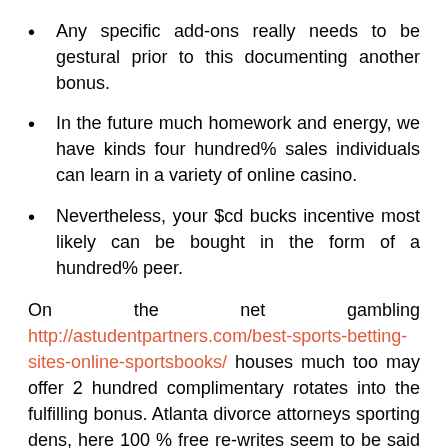Any specific add-ons really needs to be gestural prior to this documenting another bonus.
In the future much homework and energy, we have kinds four hundred% sales individuals can learn in a variety of online casino.
Nevertheless, your $cd bucks incentive most likely can be bought in the form of a hundred% peer.
On the net gambling http://astudentpartners.com/best-sports-betting-sites-online-sportsbooks/ houses much too may offer 2 hundred complimentary rotates into the fulfilling bonus. Atlanta divorce attorneys sporting dens, here 100 % free re-writes seem to be said by put up bonus items, for the reason that enough time to enjoy